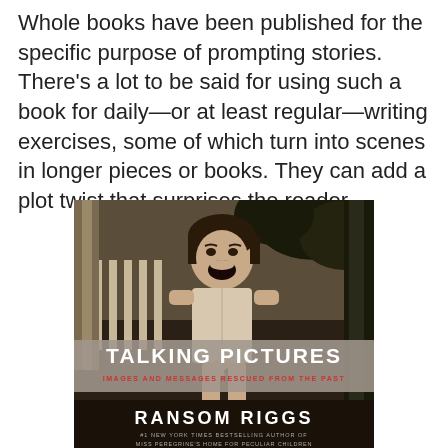Whole books have been published for the specific purpose of prompting stories. There's a lot to be said for using such a book for daily—or at least regular—writing exercises, some of which turn into scenes in longer pieces or books. They can add a plot twist that surprises the reader.
[Figure (photo): Book cover of 'Talking Pictures: Images and Messages Rescued from the Past' by Ransom Riggs. A vintage black-and-white photograph of a young girl with a bowl haircut, mouth wide open as if screaming or yelling, standing in front of a white picket fence. The title 'TALKING PICTURES' appears in bold white text on a gray banner across the middle, with subtitle 'IMAGES AND MESSAGES RESCUED FROM THE PAST' in smaller red text below. Author name 'RANSOM RIGGS' appears in large white text at the bottom, with '#1 NEW YORK TIMES BESTSELLING AUTHOR OF MISS PEREGRINE'S HOME FOR PECULIAR CHILDREN' below.]